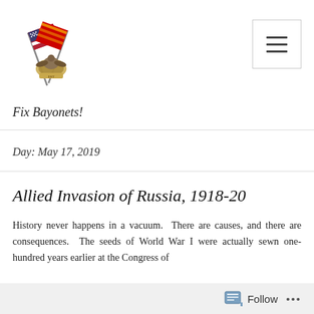[Figure (logo): Fix Bayonets! blog logo showing crossed American and military flags with an eagle emblem in the center]
Fix Bayonets!
Day: May 17, 2019
Allied Invasion of Russia, 1918-20
History never happens in a vacuum.  There are causes, and there are consequences.  The seeds of World War I were actually sewn one-hundred years earlier at the Congress of
Follow ...